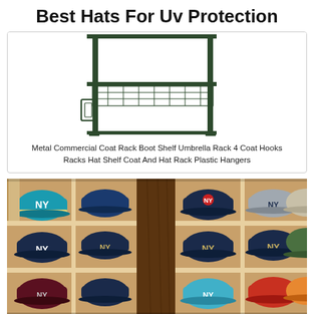Best Hats For Uv Protection
[Figure (illustration): Metal commercial coat rack with boot shelf, umbrella holder, 4 coat hooks, hat shelf, and plastic hangers – product illustration on white background]
Metal Commercial Coat Rack Boot Shelf Umbrella Rack 4 Coat Hooks Racks Hat Shelf Coat And Hat Rack Plastic Hangers
[Figure (photo): Photo of a wooden shelving unit displaying multiple New York Yankees fitted baseball caps in various colors arranged in individual cubby compartments]